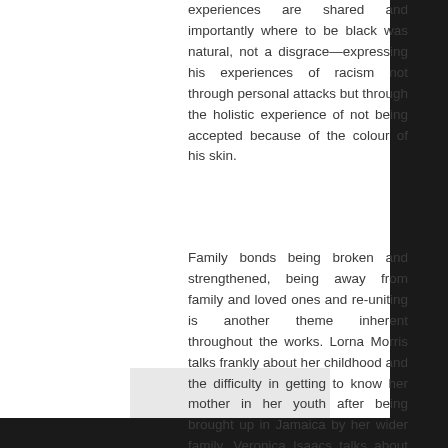experiences are shared and importantly where to be black was natural, not a disgrace—expressing his experiences of racism not through personal attacks but through the holistic experience of not being accepted because of the colour of his skin.
Family bonds being broken and strengthened, being away from family and loved ones and re-uniting is another theme inherent throughout the works. Lorna Morris talks frankly about her childhood and the difficulty in getting to know her mother in her youth after being brought up in Jamaica by her wider family. Veronica Isaacs talks about the difficulty in forming a relationship